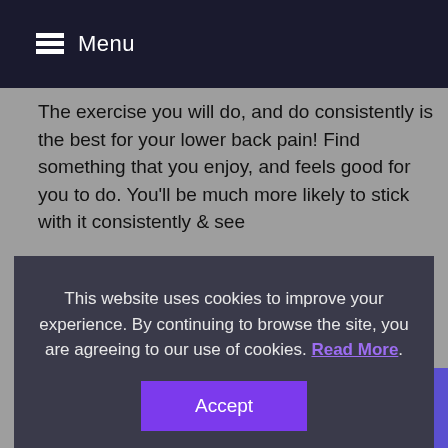Menu
The exercise you will do, and do consistently is the best for your lower back pain!  Find something that you enjoy, and feels good for you to do.  You'll be much more likely to stick with it consistently & see
This website uses cookies to improve your experience. By continuing to browse the site, you are agreeing to our use of cookies. Read More.
Accept
Posted in Blog.
Search
Recent Posts
Pilates Retreat Day